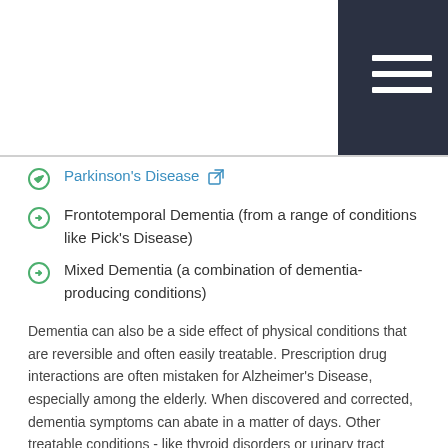Parkinson's Disease
Frontotemporal Dementia (from a range of conditions like Pick's Disease)
Mixed Dementia (a combination of dementia-producing conditions)
Dementia can also be a side effect of physical conditions that are reversible and often easily treatable. Prescription drug interactions are often mistaken for Alzheimer's Disease, especially among the elderly. When discovered and corrected, dementia symptoms can abate in a matter of days. Other treatable conditions - like thyroid disorders or urinary tract infections - can manifest dementia-like symptoms which reverse when the underlying disorder is addressed. Risk factors include: aging, head trauma, genetics, heart disease, diabetes, smoking, high blood pressure and obesity.
To schedule a consultation with a qualified geriatric physician in Pinellas Park that specializes in dementia treatment, call